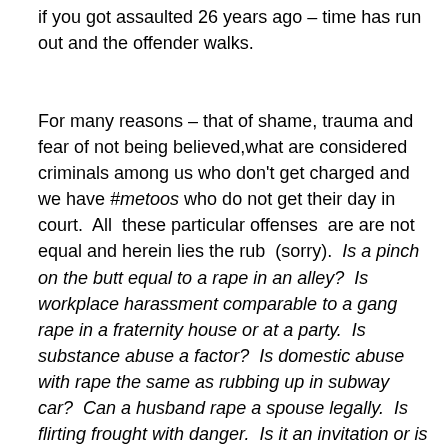if you got assaulted 26 years ago – time has run out and the offender walks.
For many reasons – that of shame, trauma and fear of not being believed,what are considered criminals among us who don't get charged and we have #metoos who do not get their day in court.  All  these particular offenses  are are not equal and herein lies the rub  (sorry).  Is a pinch on the butt equal to a rape in an alley?  Is workplace harassment comparable to a gang rape in a fraternity house or at a party.  Is substance abuse a factor?  Is domestic abuse with rape the same as rubbing up in subway car?  Can a husband rape a spouse legally.  Is flirting frought with danger.  Is it an invitation or is it so complicated a message it can be a crime to even do it? You know the variations on this theme and you also know that the acts themselves are not all the same.  They